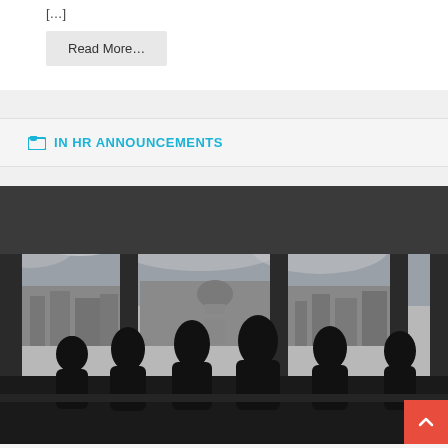[…]
Read More...
IN HR ANNOUNCEMENTS
[Figure (photo): Black and white photograph of silhouettes of people sitting at a table in a room with large floor-to-ceiling windows divided by vertical columns, with a cityscape visible in the background including a large domed building (resembling St Paul's Cathedral) and cloudy sky.]